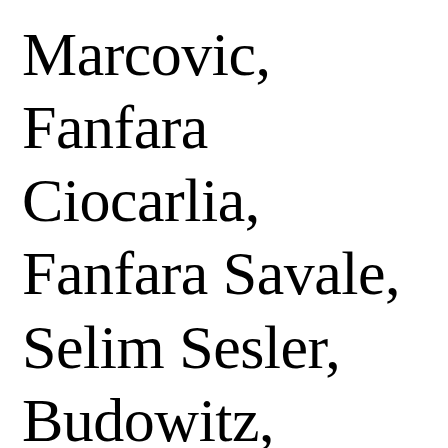Marcovic, Fanfara Ciocarlia, Fanfara Savale, Selim Sesler, Budowitz, Frank London's Klezmer Brass Allstars and numerous others